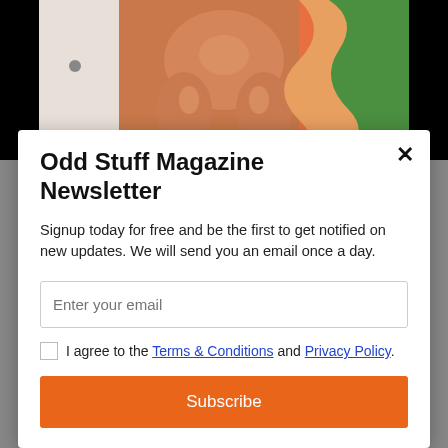[Figure (photo): A photo showing what appears to be a baby doll or toy with chubby limbs, photographed against a colorful background with orange/green patterns, flanked by black areas on either side.]
Odd Stuff Magazine Newsletter
Signup today for free and be the first to get notified on new updates. We will send you an email once a day.
Enter your email
I agree to the Terms & Conditions and Privacy Policy.
Subscribe